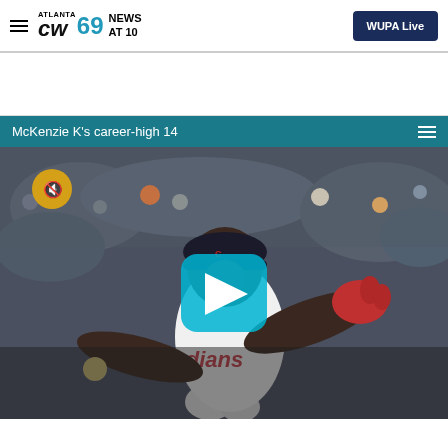ATLANTA CW69 NEWS AT 10 | WUPA Live
[Figure (screenshot): Video player showing a Cleveland Guardians baseball pitcher mid-throw in a crowded stadium, with a teal title bar reading 'McKenzie K's career-high 14', a mute icon in the top-left corner, and a play button overlay in the center.]